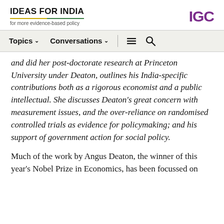IDEAS FOR INDIA — for more evidence-based policy | IGC
Topics  Conversations  [menu] [search]
and did her post-doctorate research at Princeton University under Deaton, outlines his India-specific contributions both as a rigorous economist and a public intellectual. She discusses Deaton's great concern with measurement issues, and the over-reliance on randomised controlled trials as evidence for policymaking; and his support of government action for social policy.
Much of the work by Angus Deaton, the winner of this year's Nobel Prize in Economics, has been focussed on